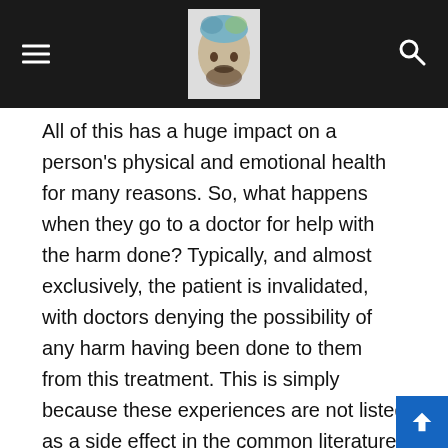Navigation header with hamburger menu, logo, and search icon
All of this has a huge impact on a person’s physical and emotional health for many reasons. So, what happens when they go to a doctor for help with the harm done? Typically, and almost exclusively, the patient is invalidated, with doctors denying the possibility of any harm having been done to them from this treatment. This is simply because these experiences are not listed as a side effect in the common literature or on the manufacturer’s website.
This is a fierce, fierce tragedy. Not only is someone harmed seriously despite being told they wouldn’t be, but now all the physicians they see deny the harm and sometimes even try to add an additional mental illness to their diagnosis simply because they were harmed by TMS.